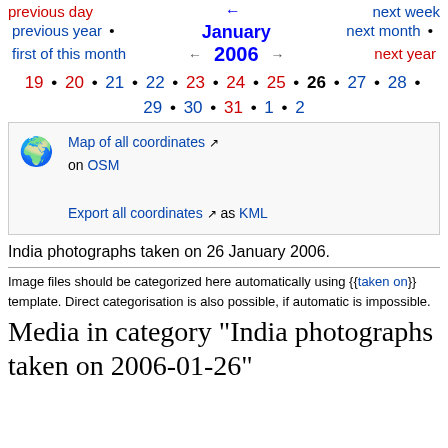previous day • next week • previous year • January 2006 • next month • first of this month ← → next year
19 • 20 • 21 • 22 • 23 • 24 • 25 • 26 • 27 • 28 • 29 • 30 • 31 • 1 • 2
Map of all coordinates on OSM / Export all coordinates as KML
India photographs taken on 26 January 2006.
Image files should be categorized here automatically using {{taken on}} template. Direct categorisation is also possible, if automatic is impossible.
Media in category "India photographs taken on 2006-01-26"